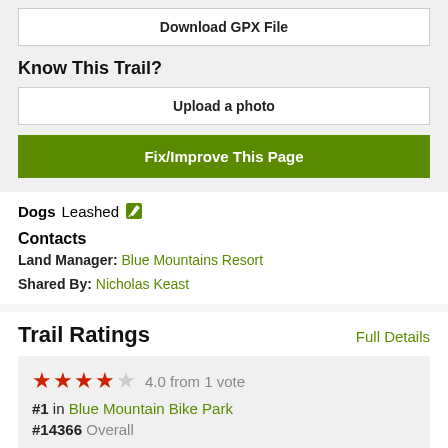Download GPX File
Know This Trail?
Upload a photo
Fix/Improve This Page
Dogs  Leashed
Contacts
Land Manager: Blue Mountains Resort
Shared By: Nicholas Keast
Trail Ratings
Full Details
4.0 from 1 vote
#1 in Blue Mountain Bike Park
#14366 Overall
Show Breakdown